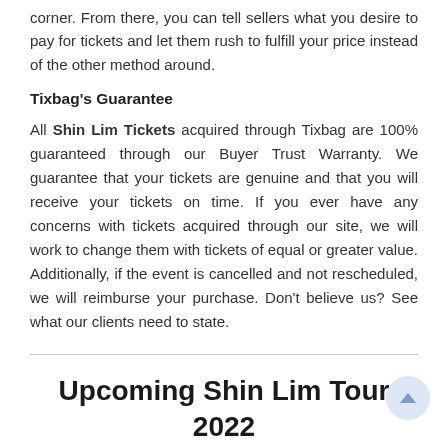corner. From there, you can tell sellers what you desire to pay for tickets and let them rush to fulfill your price instead of the other method around.
Tixbag's Guarantee
All Shin Lim Tickets acquired through Tixbag are 100% guaranteed through our Buyer Trust Warranty. We guarantee that your tickets are genuine and that you will receive your tickets on time. If you ever have any concerns with tickets acquired through our site, we will work to change them with tickets of equal or greater value. Additionally, if the event is cancelled and not rescheduled, we will reimburse your purchase. Don't believe us? See what our clients need to state.
Upcoming Shin Lim Tour 2022